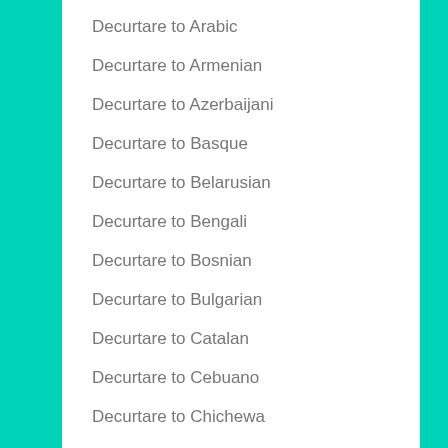Decurtare to Arabic
Decurtare to Armenian
Decurtare to Azerbaijani
Decurtare to Basque
Decurtare to Belarusian
Decurtare to Bengali
Decurtare to Bosnian
Decurtare to Bulgarian
Decurtare to Catalan
Decurtare to Cebuano
Decurtare to Chichewa
Decurtare to Chinese Simplified
Decurtare to Chinese Traditional
Decurtare to Corsican